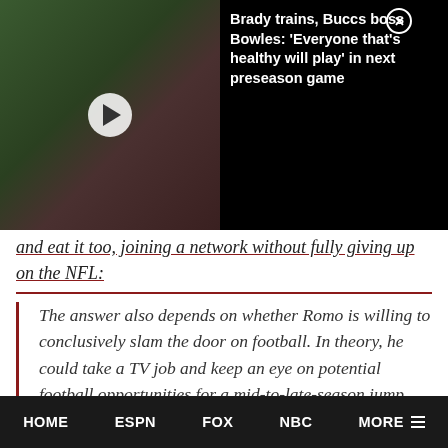[Figure (screenshot): Video thumbnail showing people in red jerseys at a sports practice field, with a dark overlay panel on the right showing video title text, and a play button in center of thumbnail]
and eat it too, joining a network without fully giving up on the NFL:
The answer also depends on whether Romo is willing to conclusively slam the door on football. In theory, he could take a TV job and keep an eye on potential football opportunities for a mid-to-late-season jump back to the game. CBS likely wouldn't install him as the No. 1 analyst unless he's fully committed to the TV gig.
HOME   ESPN   FOX   NBC   MORE